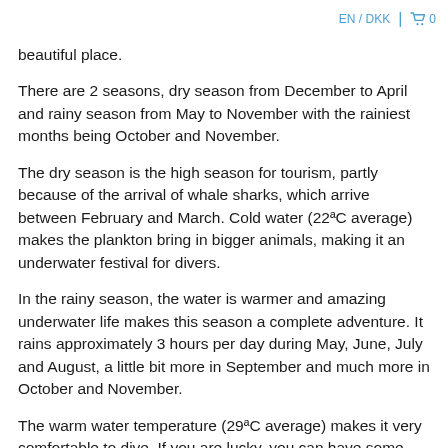EN / DKK  🛒 0
beautiful place.
There are 2 seasons, dry season from December to April and rainy season from May to November with the rainiest months being October and November.
The dry season is the high season for tourism, partly because of the arrival of whale sharks, which arrive between February and March. Cold water (22ªC average) makes the plankton bring in bigger animals, making it an underwater festival for divers.
In the rainy season, the water is warmer and amazing underwater life makes this season a complete adventure. It rains approximately 3 hours per day during May, June, July and August, a little bit more in September and much more in October and November.
The warm water temperature (29ªC average) makes it very comfortable to dive. If you are lucky, you can have some great experiences at the end of July to the beginning of September with